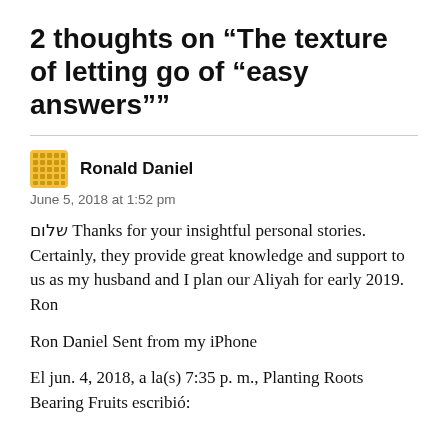2 thoughts on “The texture of letting go of “easy answers””
Ronald Daniel
June 5, 2018 at 1:52 pm
שלום Thanks for your insightful personal stories. Certainly, they provide great knowledge and support to us as my husband and I plan our Aliyah for early 2019. Ron
Ron Daniel Sent from my iPhone
El jun. 4, 2018, a la(s) 7:35 p. m., Planting Roots Bearing Fruits escribió: